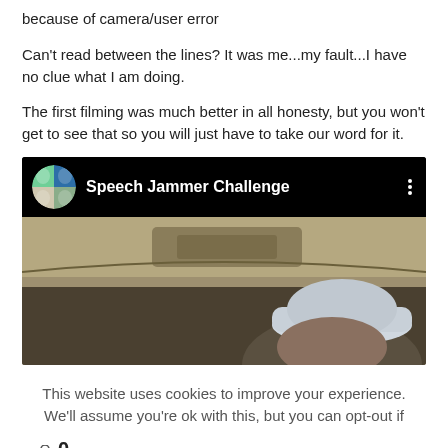because of camera/user error
Can't read between the lines? It was me...my fault...I have no clue what I am doing.
The first filming was much better in all honesty, but you won't get to see that so you will just have to take our word for it.
[Figure (screenshot): Video embed showing 'Speech Jammer Challenge' with a circular avatar showing a collage of people, video title in white text on black header bar, three dots menu icon, and a thumbnail showing people inside a car interior.]
This website uses cookies to improve your experience. We'll assume you're ok with this, but you can opt-out if
0 SHARES